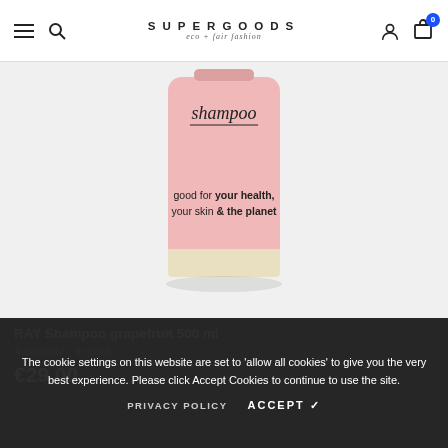SUPERGOODS eco + fair fashion
[Figure (photo): A pink bottle of RAY Shampoo grapefruit 500ml with text 'shampoo' and 'good for your health, your skin & the planet' on label]
RAY Shampoo grapefruit 500 ml
Availability: In Stock
€29.00
The cookie settings on this website are set to 'allow all cookies' to give you the very best experience. Please click Accept Cookies to continue to use the site.
PRIVACY POLICY   ACCEPT ✓